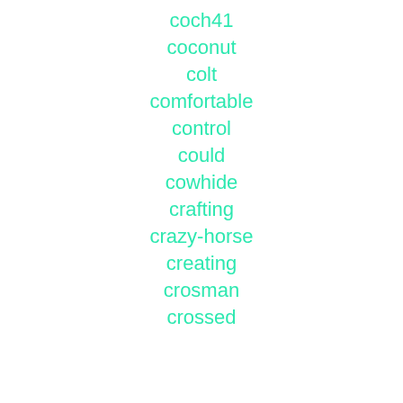coch41
coconut
colt
comfortable
control
could
cowhide
crafting
crazy-horse
creating
crosman
crossed